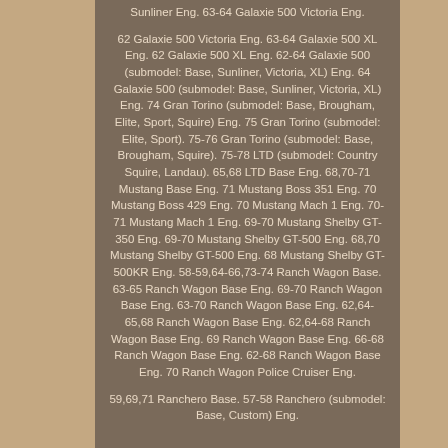Sunliner Eng. 63-64 Galaxie 500 Victoria Eng.
62 Galaxie 500 Victoria Eng. 63-64 Galaxie 500 XL Eng. 62 Galaxie 500 XL Eng. 62-64 Galaxie 500 (submodel: Base, Sunliner, Victoria, XL) Eng. 64 Galaxie 500 (submodel: Base, Sunliner, Victoria, XL) Eng. 74 Gran Torino (submodel: Base, Brougham, Elite, Sport, Squire) Eng. 75 Gran Torino (submodel: Elite, Sport). 75-76 Gran Torino (submodel: Base, Brougham, Squire). 75-78 LTD (submodel: Country Squire, Landau). 65,68 LTD Base Eng. 68,70-71 Mustang Base Eng. 71 Mustang Boss 351 Eng. 70 Mustang Boss 429 Eng. 70 Mustang Mach 1 Eng. 70-71 Mustang Mach 1 Eng. 69-70 Mustang Shelby GT-350 Eng. 69-70 Mustang Shelby GT-500 Eng. 68,70 Mustang Shelby GT-500 Eng. 68 Mustang Shelby GT-500KR Eng. 58-59,64-66,73-74 Ranch Wagon Base. 63-65 Ranch Wagon Base Eng. 69-70 Ranch Wagon Base Eng. 63-70 Ranch Wagon Base Eng. 62,64-65,68 Ranch Wagon Base Eng. 62,64-68 Ranch Wagon Base Eng. 69 Ranch Wagon Base Eng. 66-68 Ranch Wagon Base Eng. 62-68 Ranch Wagon Base Eng. 70 Ranch Wagon Police Cruiser Eng.
59,69,71 Ranchero Base. 57-58 Ranchero (submodel: Base, Custom) Eng.